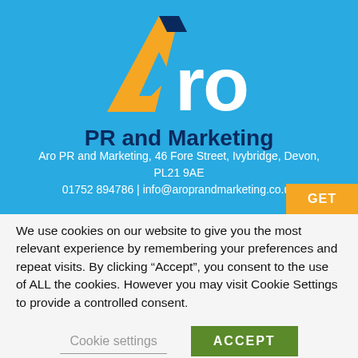[Figure (logo): Aro PR and Marketing logo on blue background with orange and dark blue arrow/chevron graphic forming the letter A, white 'ro' text, and dark navy 'PR and Marketing' text below]
Aro PR and Marketing, 46 Fore Street, Ivybridge, Devon, PL21 9AE
01752 894786 | info@aroprandmarketing.co.uk
We use cookies on our website to give you the most relevant experience by remembering your preferences and repeat visits. By clicking “Accept”, you consent to the use of ALL the cookies. However you may visit Cookie Settings to provide a controlled consent.
Cookie settings
ACCEPT